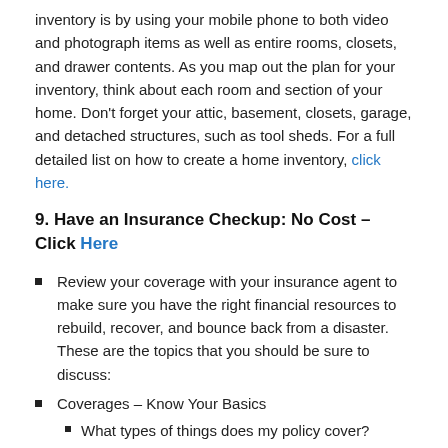inventory is by using your mobile phone to both video and photograph items as well as entire rooms, closets, and drawer contents. As you map out the plan for your inventory, think about each room and section of your home. Don't forget your attic, basement, closets, garage, and detached structures, such as tool sheds. For a full detailed list on how to create a home inventory, click here.
9. Have an Insurance Checkup: No Cost – Click Here
Review your coverage with your insurance agent to make sure you have the right financial resources to rebuild, recover, and bounce back from a disaster. These are the topics that you should be sure to discuss:
Coverages – Know Your Basics
What types of things does my policy cover?
Deductibles and Claims
For example, did you know that you may have coverage for food that spoils when the power